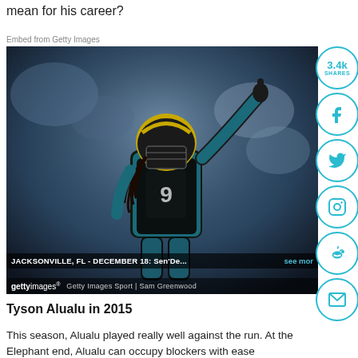mean for his career?
Embed from Getty Images
[Figure (photo): Jacksonville Jaguars player in teal and black uniform with gold helmet, pointing upward with one arm raised. Crowd visible in background. JACKSONVILLE, FL - DECEMBER 18: Sen'De... see more. Getty Images Sport | Sam Greenwood]
Tyson Alualu in 2015
This season, Alualu played really well against the run. At the Elephant end, Alualu can occupy blockers with ease